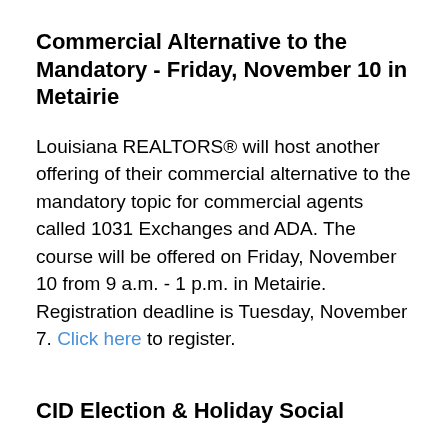Commercial Alternative to the Mandatory - Friday, November 10 in Metairie
Louisiana REALTORS® will host another offering of their commercial alternative to the mandatory topic for commercial agents called 1031 Exchanges and ADA. The course will be offered on Friday, November 10 from 9 a.m. - 1 p.m. in Metairie. Registration deadline is Tuesday, November 7. Click here to register.
CID Election & Holiday Social
Join CID for their annual Election & Holiday Social on Thursday, November 16, 2017 5:30...